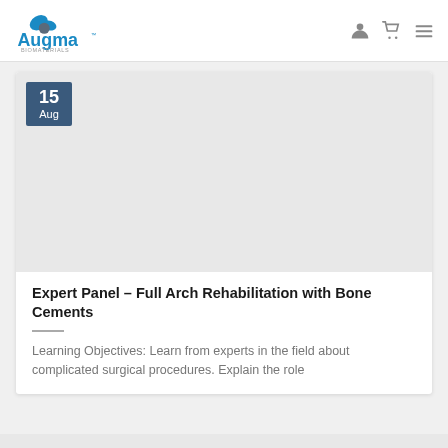Augma Biomaterials
[Figure (logo): Augma Biomaterials logo with blue stylized icon and text]
15 Aug
[Figure (photo): Gray placeholder image area for blog post thumbnail]
Expert Panel – Full Arch Rehabilitation with Bone Cements
Learning Objectives: Learn from experts in the field about complicated surgical procedures. Explain the role